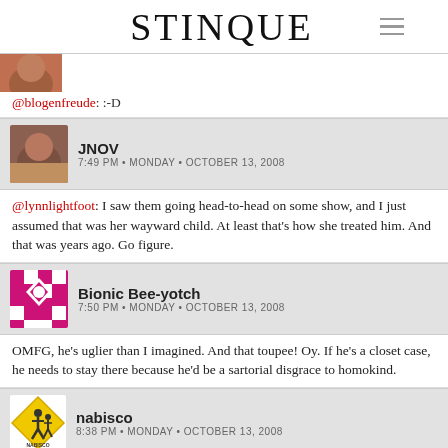STINQUE
[Figure (photo): Partial avatar image at top, cropped]
@blogenfreude: :-D
[Figure (photo): Avatar photo of JNOV commenter]
JNOV
7:49 PM • MONDAY • OCTOBER 13, 2008
@lynnlightfoot: I saw them going head-to-head on some show, and I just assumed that was her wayward child. At least that's how she treated him. And that was years ago. Go figure.
[Figure (illustration): Geometric pink/magenta pattern avatar for Bionic Bee-yotch]
Bionic Bee-yotch
7:50 PM • MONDAY • OCTOBER 13, 2008
OMFG, he's uglier than I imagined. And that toupee! Oy. If he's a closet case, he needs to stay there because he'd be a sartorial disgrace to homokind.
[Figure (illustration): Yellow diamond pedestrian crossing sign avatar for nabisco]
nabisco
8:38 PM • MONDAY • OCTOBER 13, 2008